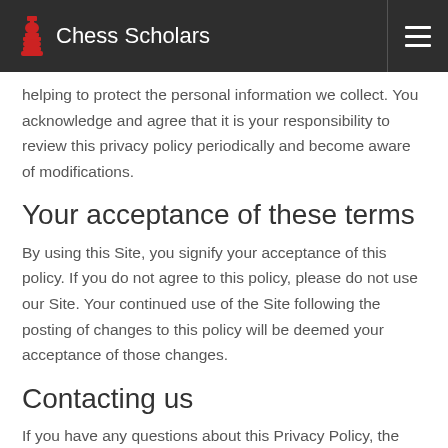Chess Scholars
helping to protect the personal information we collect. You acknowledge and agree that it is your responsibility to review this privacy policy periodically and become aware of modifications.
Your acceptance of these terms
By using this Site, you signify your acceptance of this policy. If you do not agree to this policy, please do not use our Site. Your continued use of the Site following the posting of changes to this policy will be deemed your acceptance of those changes.
Contacting us
If you have any questions about this Privacy Policy, the practices of this site, or your dealings with this site,